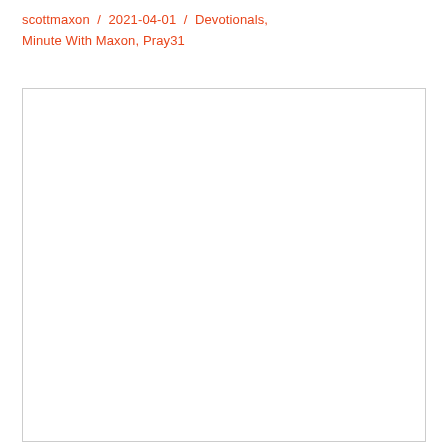scottmaxon / 2021-04-01 / Devotionals, Minute With Maxon, Pray31
[Figure (other): Empty white content box with light gray border]